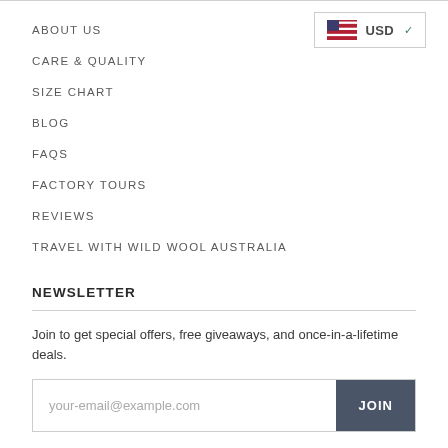ABOUT US
CARE & QUALITY
SIZE CHART
BLOG
FAQS
FACTORY TOURS
REVIEWS
TRAVEL WITH WILD WOOL AUSTRALIA
NEWSLETTER
Join to get special offers, free giveaways, and once-in-a-lifetime deals.
your-email@example.com  JOIN